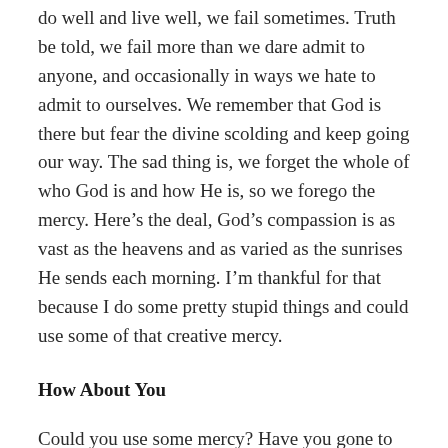do well and live well, we fail sometimes. Truth be told, we fail more than we dare admit to anyone, and occasionally in ways we hate to admit to ourselves. We remember that God is there but fear the divine scolding and keep going our way. The sad thing is, we forget the whole of who God is and how He is, so we forego the mercy. Here’s the deal, God’s compassion is as vast as the heavens and as varied as the sunrises He sends each morning. I’m thankful for that because I do some pretty stupid things and could use some of that creative mercy.
How About You
Could you use some mercy? Have you gone to places in your life you never thought you’d go, perhaps done some things you never thought you’d do? Are you running; too afraid to stop and too tired to keep going? Have you thought you’ve gone beyond the reach of mercy and wondered how or why